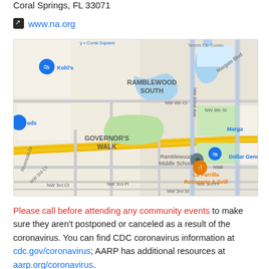Coral Springs, FL 33071
www.na.org
[Figure (map): Google Maps screenshot showing Ramblewood South and Governor's Walk neighborhoods in Coral Springs, FL. Landmarks include Kohl's, Ramblewood Middle School, Dollar General, La Parrilla Rotisserie & Grill. Streets visible: NW 82nd Ave, Margate Blvd, NW 6th Ct, NW 8th St, NW 3rd Pl, NW 3rd St, NW 3rd Ct, Riverside Dr.]
Please call before attending any community events to make sure they aren't postponed or canceled as a result of the coronavirus. You can find CDC coronavirus information at cdc.gov/coronavirus; AARP has additional resources at aarp.org/coronavirus.